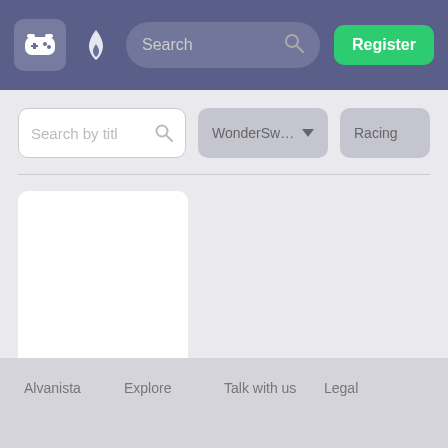Navigation bar with game icon, flame icon, Search bar, and Register button
Search by title
WonderSwan C▾
Racing
[Figure (screenshot): White blank game card image area]
Final Lap Special: GT & Formula Machine
Add ▾
Alvanista   Explore   Talk with us   Legal